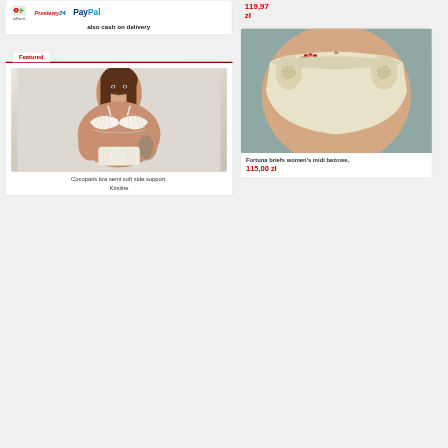[Figure (screenshot): E-commerce lingerie shop page showing payment logos (mBank, Przelewy24, PayPal), 'also cash on delivery' text, a Featured section with a model wearing a cream bra (Cocoparis), and a product card for Fortuna briefs in beige with price 115,00 zł. Top right shows price 119,97 zł for another product.]
also cash on delivery
Featured
Cocoparis bra semi soft side support, Krisline
119,97 zł
Fortuna briefs women's midi beżowe,
115,00 zł